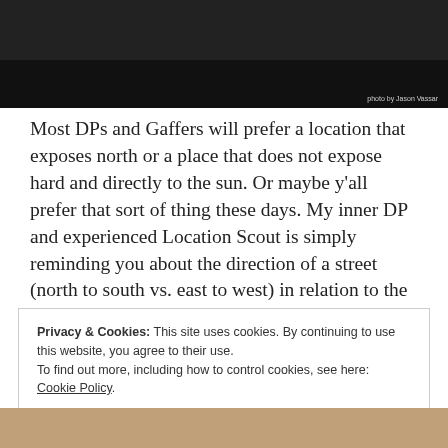[Figure (photo): Dark/black photo at the top of the page with a small photo credit 'photo by Jason Vassar' in the bottom right corner.]
Most DPs and Gaffers will prefer a location that exposes north or a place that does not expose hard and directly to the sun. Or maybe y'all prefer that sort of thing these days. My inner DP and experienced Location Scout is simply reminding you about the direction of a street (north to south vs. east to west) in relation to the time of day and year you will be shooting.
Privacy & Cookies: This site uses cookies. By continuing to use this website, you agree to their use.
To find out more, including how to control cookies, see here:
Cookie Policy
Close and accept
[Figure (photo): Partial photo visible at the very bottom of the page, showing a warm/brown toned image.]